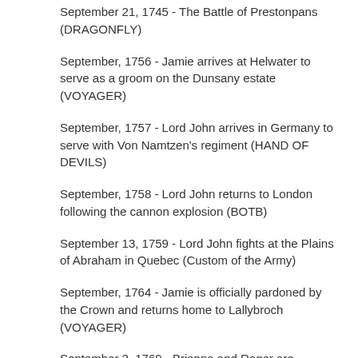September 21, 1745 - The Battle of Prestonpans (DRAGONFLY)
September, 1756 - Jamie arrives at Helwater to serve as a groom on the Dunsany estate (VOYAGER)
September, 1757 - Lord John arrives in Germany to serve with Von Namtzen's regiment (HAND OF DEVILS)
September, 1758 - Lord John returns to London following the cannon explosion (BOTB)
September 13, 1759 - Lord John fights at the Plains of Abraham in Quebec (Custom of the Army)
September, 1764 - Jamie is officially pardoned by the Crown and returns home to Lallybroch (VOYAGER)
September 2, 1769 - Brianna and Roger are handfast; Jemmy is conceived (DRUMS OF AUTUMN)